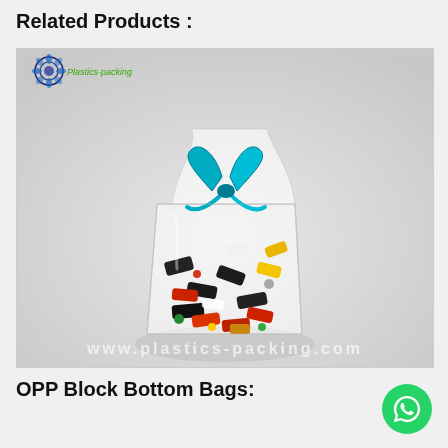Related Products :
[Figure (photo): A clear OPP block bottom bag filled with colorful candies and tied with a teal/blue ribbon bow at the top. The bag is transparent showing mixed colorful sweets inside. A watermark reads www.plastics-packing.com. In the top-left corner is a Plastics-packing logo with a blue mandala flower graphic and green text.]
OPP Block Bottom Bags: